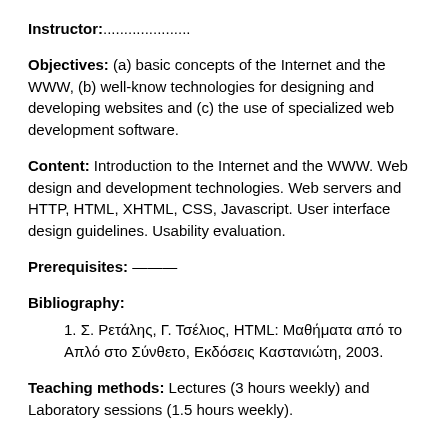Instructor:.....................
Objectives: (a) basic concepts of the Internet and the WWW, (b) well-know technologies for designing and developing websites and (c) the use of specialized web development software.
Content: Introduction to the Internet and the WWW. Web design and development technologies. Web servers and HTTP, HTML, XHTML, CSS, Javascript. User interface design guidelines. Usability evaluation.
Prerequisites: ———
Bibliography:
1. Σ. Ρετάλης, Γ. Τσέλιος, HTML: Μαθήματα από το Απλό στο Σύνθετο, Εκδόσεις Καστανιώτη, 2003.
Teaching methods: Lectures (3 hours weekly) and Laboratory sessions (1.5 hours weekly).